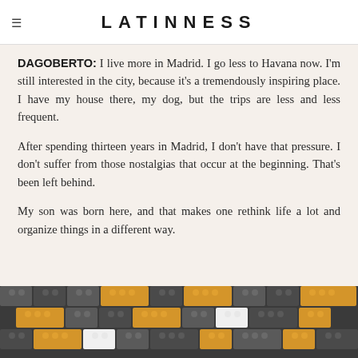LATINNESS
DAGOBERTO: I live more in Madrid. I go less to Havana now. I'm still interested in the city, because it's a tremendously inspiring place. I have my house there, my dog, but the trips are less and less frequent.
After spending thirteen years in Madrid, I don't have that pressure. I don't suffer from those nostalgias that occur at the beginning. That's been left behind.
My son was born here, and that makes one rethink life a lot and organize things in a different way.
[Figure (photo): A close-up photograph of LEGO bricks assembled in grey, white, and orange/tan colors, appearing to show a building or architectural model constructed from LEGO pieces.]